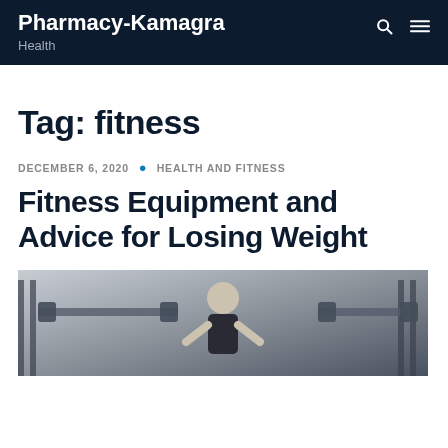Pharmacy-Kamagra Health
Tag: fitness
DECEMBER 6, 2020 • HEALTH AND FITNESS
Fitness Equipment and Advice for Losing Weight
[Figure (photo): A woman in a gym setting with weightlifting equipment in the background]